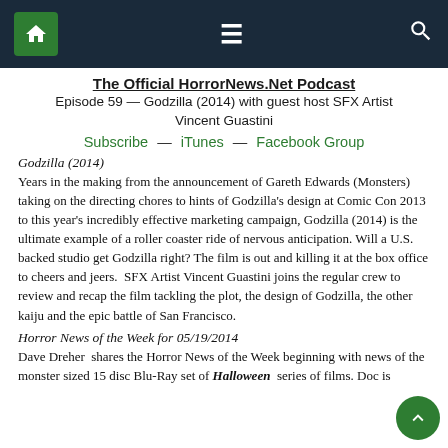The Official HorrorNews.Net Podcast
Episode 59 — Godzilla (2014) with guest host SFX Artist Vincent Guastini
Subscribe — iTunes — Facebook Group
Godzilla (2014)
Years in the making from the announcement of Gareth Edwards (Monsters) taking on the directing chores to hints of Godzilla's design at Comic Con 2013 to this year's incredibly effective marketing campaign, Godzilla (2014) is the ultimate example of a roller coaster ride of nervous anticipation. Will a U.S. backed studio get Godzilla right? The film is out and killing it at the box office to cheers and jeers.  SFX Artist Vincent Guastini joins the regular crew to review and recap the film tackling the plot, the design of Godzilla, the other kaiju and the epic battle of San Francisco.
Horror News of the Week for 05/19/2014
Dave Dreher  shares the Horror News of the Week beginning with news of the monster sized 15 disc Blu-Ray set of Halloween series of films. Doc is